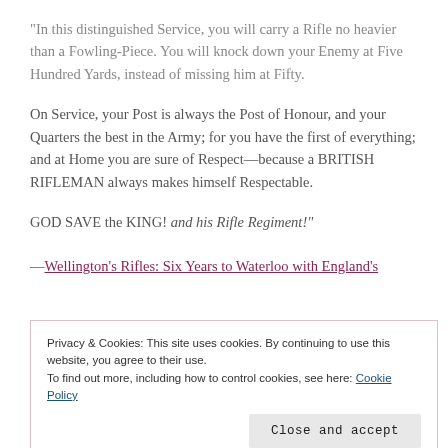“In this distinguished Service, you will carry a Rifle no heavier than a Fowling-Piece. You will knock down your Enemy at Five Hundred Yards, instead of missing him at Fifty.
On Service, your Post is always the Post of Honour, and your Quarters the best in the Army; for you have the first of everything; and at Home you are sure of Respect—because a BRITISH RIFLEMAN always makes himself Respectable.
GOD SAVE the KING! and his Rifle Regiment!”
—Wellington’s Rifles: Six Years to Waterloo with England’s
Privacy & Cookies: This site uses cookies. By continuing to use this website, you agree to their use. To find out more, including how to control cookies, see here: Cookie Policy
Close and accept
who says you can’t learn things from fiction! I was first